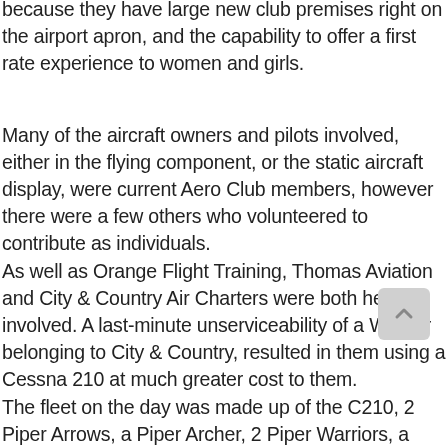because they have large new club premises right on the airport apron, and the capability to offer a first rate experience to women and girls.
Many of the aircraft owners and pilots involved, either in the flying component, or the static aircraft display, were current Aero Club members, however there were a few others who volunteered to contribute as individuals.
As well as Orange Flight Training, Thomas Aviation and City & Country Air Charters were both heavily involved. A last-minute unserviceability of a Warrior belonging to City & Country, resulted in them using a Cessna 210 at much greater cost to them.
The fleet on the day was made up of the C210, 2 Piper Arrows, a Piper Archer, 2 Piper Warriors, a